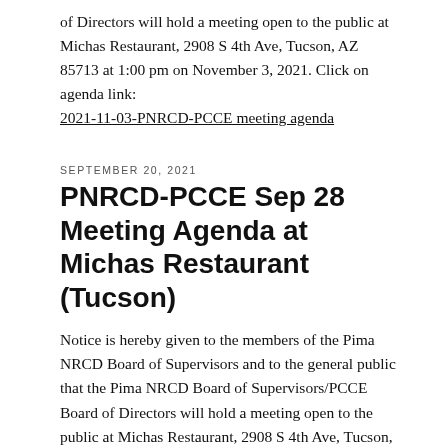of Directors will hold a meeting open to the public at Michas Restaurant, 2908 S 4th Ave, Tucson, AZ 85713 at 1:00 pm on November 3, 2021. Click on agenda link: 2021-11-03-PNRCD-PCCE meeting agenda
SEPTEMBER 20, 2021
PNRCD-PCCE Sep 28 Meeting Agenda at Michas Restaurant (Tucson)
Notice is hereby given to the members of the Pima NRCD Board of Supervisors and to the general public that the Pima NRCD Board of Supervisors/PCCE Board of Directors will hold a meeting open to the public at Michas Restaurant, 2908 S 4th Ave, Tucson, AZ 85713 at 1:00 pm on September 28, 2021. Click on link for draft agenda: